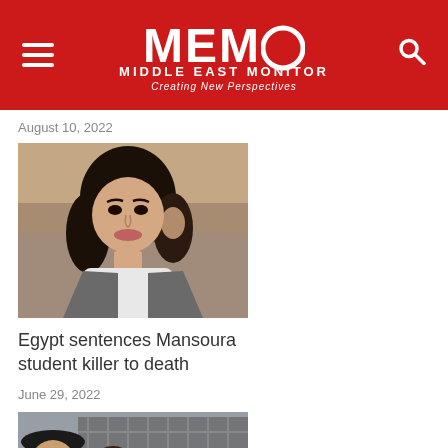MEMO MIDDLE EAST MONITOR Creating New Perspectives
August 10, 2022
[Figure (photo): Young woman with dark curly hair wearing a blazer, portrait photo]
Egypt sentences Mansoura student killer to death
June 29, 2022
[Figure (photo): Person in black hat beside a metal cage/gate in a courtroom setting]